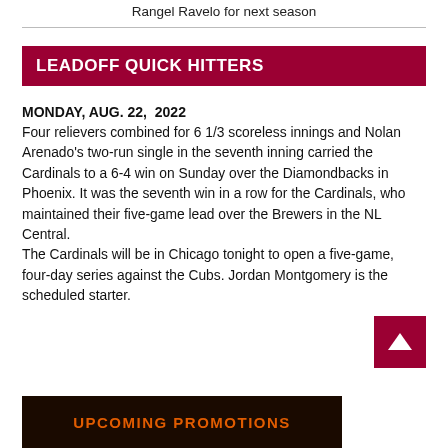Rangel Ravelo for next season
LEADOFF QUICK HITTERS
MONDAY, AUG. 22, 2022
Four relievers combined for 6 1/3 scoreless innings and Nolan Arenado's two-run single in the seventh inning carried the Cardinals to a 6-4 win on Sunday over the Diamondbacks in Phoenix. It was the seventh win in a row for the Cardinals, who maintained their five-game lead over the Brewers in the NL Central.
The Cardinals will be in Chicago tonight to open a five-game, four-day series against the Cubs. Jordan Montgomery is the scheduled starter.
[Figure (other): Red button with upward arrow (back to top)]
[Figure (other): Upcoming Promotions banner strip with neon-style orange text on dark background]